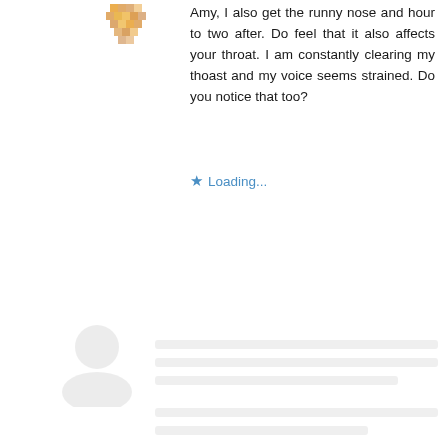[Figure (illustration): Small colorful avatar/icon of a user, orange/gold mosaic style, positioned top left of post]
Amy, I also get the runny nose and hour to two after. Do feel that it also affects your throat. I am constantly clearing my thoast and my voice seems strained. Do you notice that too?
★ Loading...
[Figure (illustration): Faded/watermark avatar icon, large, positioned bottom left area of page]